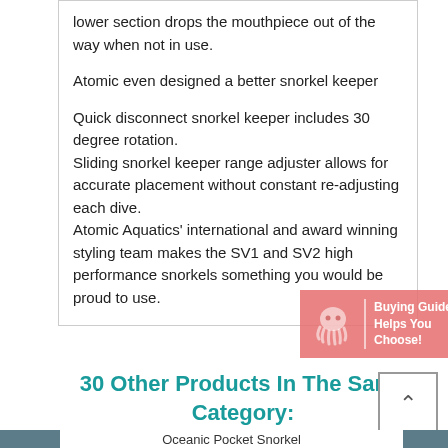lower section drops the mouthpiece out of the way when not in use.
Atomic even designed a better snorkel keeper
Quick disconnect snorkel keeper includes 30 degree rotation.
Sliding snorkel keeper range adjuster allows for accurate placement without constant re-adjusting each dive.
Atomic Aquatics' international and award winning styling team makes the SV1 and SV2 high performance snorkels something you would be proud to use.
[Figure (illustration): Buying Guide – Helps You Choose! banner with octopus logo and salmon/pink background]
30 Other Products In The Same Category:
Oceanic Pocket Snorkel